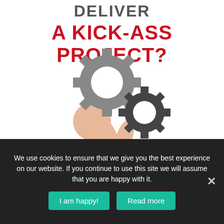DELIVER
A KICK-ASS PROJECT?
[Figure (illustration): Person holding two interlocking gears — a larger grey gear and a smaller dark grey gear — illustrated in a flat icon style with a peach-colored figure]
We use cookies to ensure that we give you the best experience on our website. If you continue to use this site we will assume that you are happy with it.
I am happy!
Read more